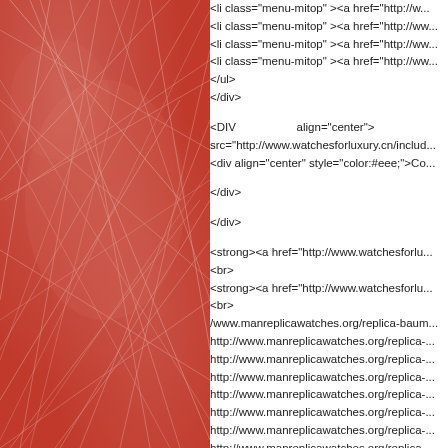[Figure (illustration): Red textured background with web-like criss-cross line pattern overlay, covering the left half of the page]
<li class="menu-mitop" ><a href="http://w...
<li class="menu-mitop" ><a href="http://ww...
<li class="menu-mitop" ><a href="http://ww...
<li class="menu-mitop" ><a href="http://ww...
</ul>
</div>

<DIV                    align="center">
src="http://www.watchesforluxury.cn/includ...
<div align="center" style="color:#eee;">Co...

</div>

</div>

<strong><a href="http://www.watchesforlu...
<br>
<strong><a href="http://www.watchesforlu...
<br>
/www.manreplicawatches.org/replica-baum...
http://www.manreplicawatches.org/replica-...
http://www.manreplicawatches.org/replica-...
http://www.manreplicawatches.org/replica-...
http://www.manreplicawatches.org/replica-...
http://www.manreplicawatches.org/replica-...
http://www.manreplicawatches.org/replica-...
http://www.manreplicawatches.org/replica-...